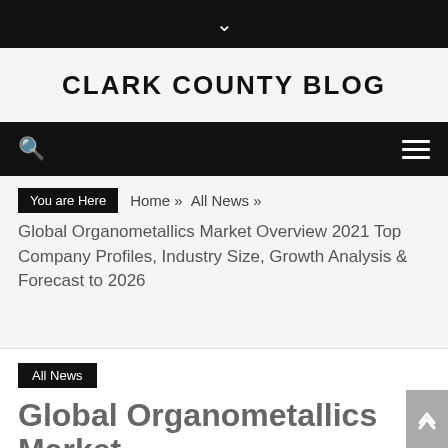Clark County Blog
You are Here  Home » All News »
Global Organometallics Market Overview 2021 Top Company Profiles, Industry Size, Growth Analysis & Forecast to 2026
All News
Global Organometallics Market